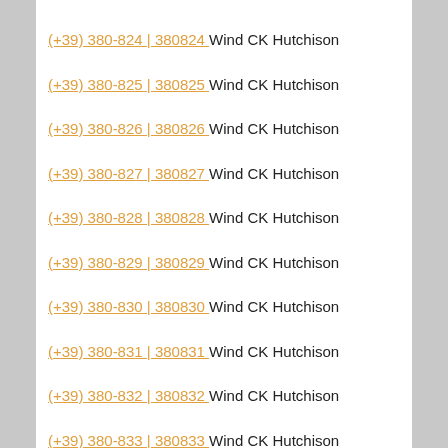(+39) 380-824 | 380824 Wind CK Hutchison
(+39) 380-825 | 380825 Wind CK Hutchison
(+39) 380-826 | 380826 Wind CK Hutchison
(+39) 380-827 | 380827 Wind CK Hutchison
(+39) 380-828 | 380828 Wind CK Hutchison
(+39) 380-829 | 380829 Wind CK Hutchison
(+39) 380-830 | 380830 Wind CK Hutchison
(+39) 380-831 | 380831 Wind CK Hutchison
(+39) 380-832 | 380832 Wind CK Hutchison
(+39) 380-833 | 380833 Wind CK Hutchison
(+39) 380-834 | 380834 Wind CK Hutchison